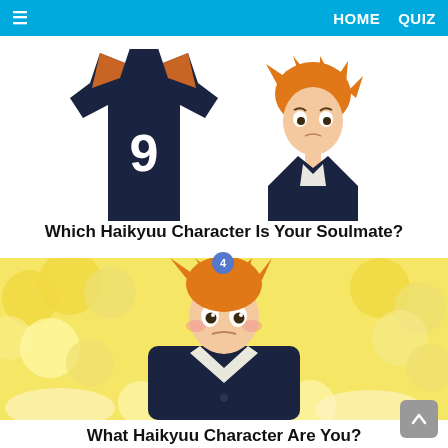HOME   QUIZ
[Figure (illustration): Two Haikyuu anime characters side by side: left is a dark navy volleyball jersey with number 9 and orange accents, right is a character with orange spiky hair wearing a dark navy uniform, looking worried]
Which Haikyuu Character Is Your Soulmate?
[Figure (illustration): Anime character with orange spiky hair and flushed cheeks, wearing a dark navy jacket over white shirt, against a yellow and white cloud/bubble background. Notification badge with number 4 overlaid.]
What Haikyuu Character Are You?